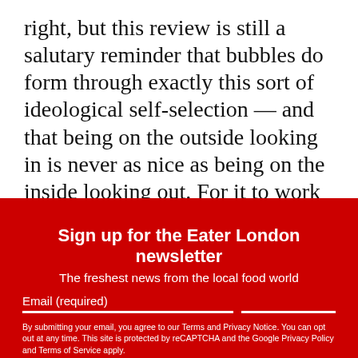right, but this review is still a salutary reminder that bubbles do form through exactly this sort of ideological self-selection — and that being on the outside looking in is never as nice as being on the inside looking out. For it to work as hospitality, hospitality needs to feel inclusive; perhaps rather than growing frustrated at critics failing to get a hot new opening, it's worth asking what restaurants can do to make
close ✕
Sign up for the Eater London newsletter
The freshest news from the local food world
Email (required)
SUBSCRIBE
By submitting your email, you agree to our Terms and Privacy Notice. You can opt out at any time. This site is protected by reCAPTCHA and the Google Privacy Policy and Terms of Service apply.